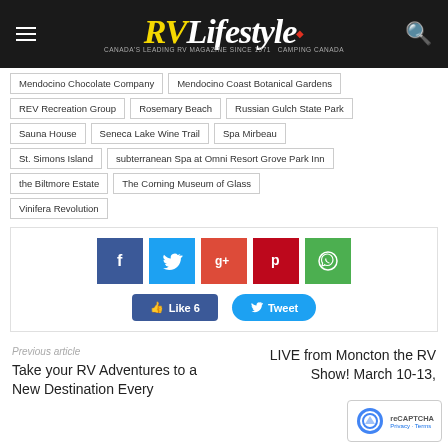RV Lifestyle
Mendocino Chocolate Company
Mendocino Coast Botanical Gardens
REV Recreation Group
Rosemary Beach
Russian Gulch State Park
Sauna House
Seneca Lake Wine Trail
Spa Mirbeau
St. Simons Island
subterranean Spa at Omni Resort Grove Park Inn
the Biltmore Estate
The Corning Museum of Glass
Vinifera Revolution
[Figure (infographic): Social share buttons: Facebook, Twitter, Google+, Pinterest, WhatsApp icons, plus Like 6 and Tweet action buttons]
Previous article
Take your RV Adventures to a New Destination Every
LIVE from Moncton the RV Show! March 10-13,